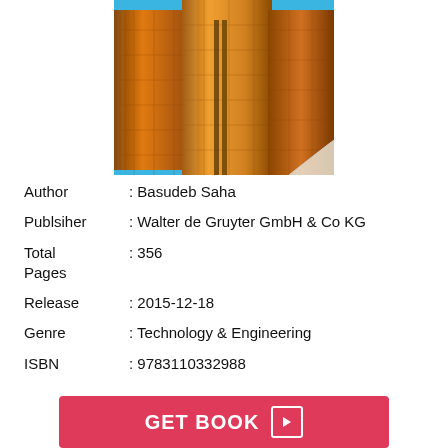[Figure (photo): Book cover photo showing industrial storage tanks/silos in golden/amber tones with blue sky background, with a page-curl effect at the bottom right corner]
Author       : Basudeb Saha
Publsiher    : Walter de Gruyter GmbH & Co KG
Total Pages  : 356
Release      : 2015-12-18
Genre        : Technology & Engineering
ISBN         : 9783110332988
GET BOOK ▶